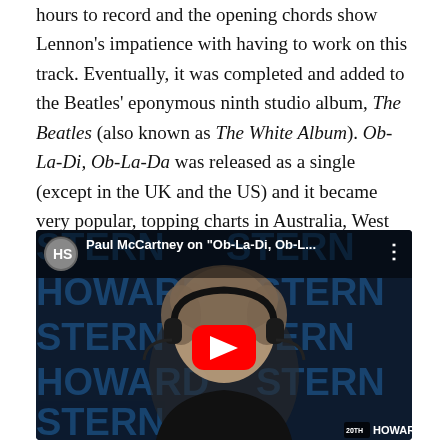hours to record and the opening chords show Lennon's impatience with having to work on this track. Eventually, it was completed and added to the Beatles' eponymous ninth studio album, The Beatles (also known as The White Album). Ob-La-Di, Ob-La-Da was released as a single (except in the UK and the US) and it became very popular, topping charts in Australia, West Germany, New Zealand and Japan.
[Figure (screenshot): YouTube video thumbnail showing Paul McCartney wearing headphones, seated in front of a Howard Stern show background with large blue letters reading HOWARD STERN. A red YouTube play button is centered on the image. The video title bar reads 'Paul McCartney on "Ob-La-Di, Ob-L...'.]